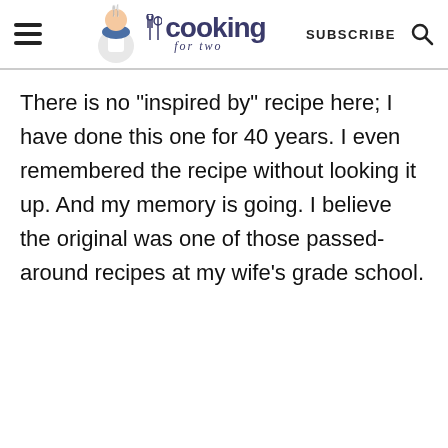cooking for two — SUBSCRIBE
There is no "inspired by" recipe here; I have done this one for 40 years. I even remembered the recipe without looking it up. And my memory is going. I believe the original was one of those passed-around recipes at my wife's grade school.